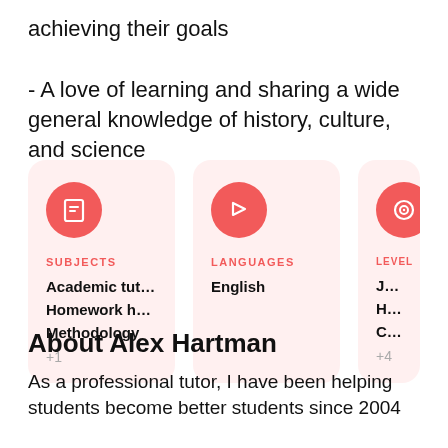achieving their goals
- A love of learning and sharing a wide general knowledge of history, culture, and science
[Figure (infographic): Three info cards: Subjects card (Academic tuto..., Homework help, Methodology, +1), Languages card (English), and partially visible Levels card (Junior, High S..., Colle..., +4). Each card has a salmon/red circle icon at top.]
About Alex Hartman
As a professional tutor, I have been helping students become better students since 2004